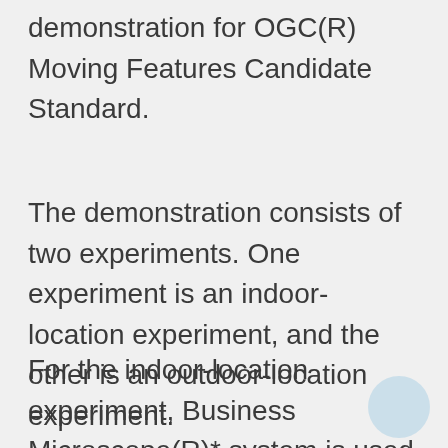demonstration for OGC(R) Moving Features Candidate Standard.
The demonstration consists of two experiments. One experiment is an indoor-location experiment, and the other is an outdoor-location experiment.
For the indoor-location experiment, Business Microscope(R)* system is used to measure people's activities.